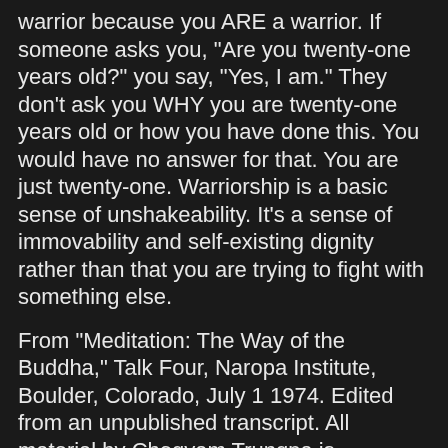warrior because you ARE a warrior. If someone asks you, "Are you twenty-one years old?" you say, "Yes, I am." They don't ask you WHY you are twenty-one years old or how you have done this. You would have no answer for that. You are just twenty-one. Warriorship is a basic sense of unshakeability. It's a sense of immovability and self-existing dignity rather than that you are trying to fight with something else.
From "Meditation: The Way of the Buddha," Talk Four, Naropa Institute, Boulder, Colorado, July 1 1974. Edited from an unpublished transcript. All material by Chogyam Trungpa is copyright Diana J. Mukpo and used by permission. OCEAN OF DHARMA QUOTES OF THE WEEK now has 5, 160 subscribers.Please send comments on and contributions to OCEAN OF DHARMA QUOTES OF THE WEEK to the list moderator, Carolyn Gimian at: carolyn@shambhala.com.
Carolyn Rose GimianOcean of Dharma Quotes of the Week: teachings by Chogyam Trungpa Rinpoche. Taken from works published by Shambhala Publications, the Archive of his unpublished work in the Shambhala Archives, plus other